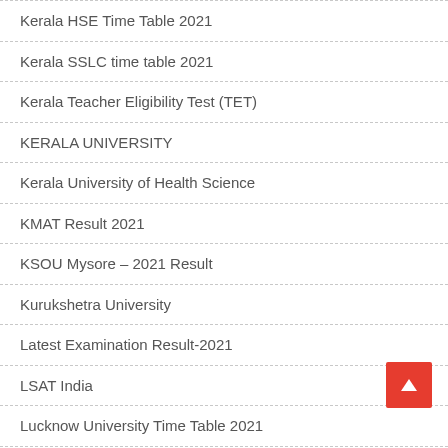Kerala HSE Time Table 2021
Kerala SSLC time table 2021
Kerala Teacher Eligibility Test (TET)
KERALA UNIVERSITY
Kerala University of Health Science
KMAT Result 2021
KSOU Mysore – 2021 Result
Kurukshetra University
Latest Examination Result-2021
LSAT India
Lucknow University Time Table 2021
Madras High Court Recruitment 2021